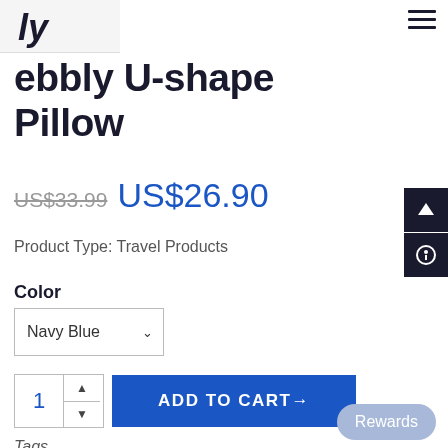≡
[Figure (logo): Partial logo image at top left, cropped]
ebbly U-shape Pillow
US$33.99  US$26.90
Product Type: Travel Products
Color
Navy Blue
1  ADD TO CART→
Tags